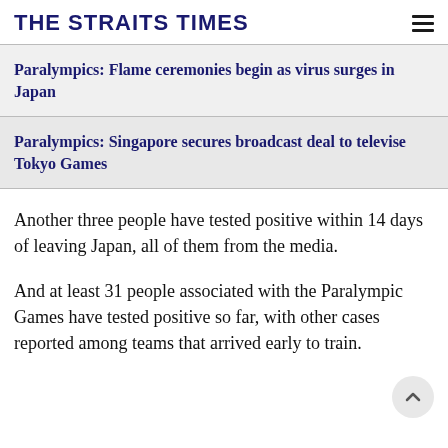THE STRAITS TIMES
Paralympics: Flame ceremonies begin as virus surges in Japan
Paralympics: Singapore secures broadcast deal to televise Tokyo Games
Another three people have tested positive within 14 days of leaving Japan, all of them from the media.
And at least 31 people associated with the Paralympic Games have tested positive so far, with other cases reported among teams that arrived early to train.